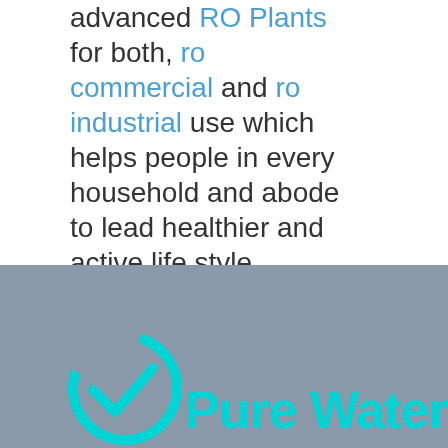advanced RO Plants for both, ro commercial and ro industrial use which helps people in every household and abode to lead healthier and active life style.
[Figure (photo): Gray/blue hazy background photo with a logo at the bottom: a cyan circular checkmark icon next to bold cyan text reading 'Pure Water']